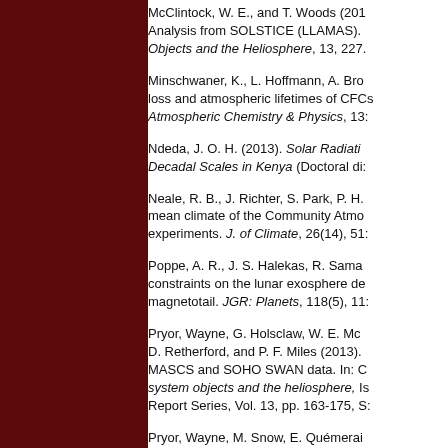McClintock, W. E., and T. Woods (2013). Analysis from SOLSTICE (LLAMAS). Solar Physics and Solar Wind as Factors for Planetary Environments and the Heliosphere, 13, 227.
Minschwaner, K., L. Hoffmann, A. Br... loss and atmospheric lifetimes of CFCs. Atmospheric Chemistry & Physics, 13...
Ndeda, J. O. H. (2013). Solar Radiation Variability on Decadal Scales in Kenya (Doctoral dissertation).
Neale, R. B., J. Richter, S. Park, P. H.... mean climate of the Community Atmosphere Model experiments. J. of Climate, 26(14), 51...
Poppe, A. R., J. S. Halekas, R. Sama... constraints on the lunar exosphere derived from magnetotail. JGR: Planets, 118(5), 11...
Pryor, Wayne, G. Holsclaw, W. E. Mc... D. Retherford, and P. F. Miles (2013). MASCS and SOHO SWAN data. In: Cross-calibration of far UV spectra of solar system objects and the heliosphere, ISSI Report Series, Vol. 13, pp. 163-175, S...
Pryor, Wayne, M. Snow, E. Quémerai...